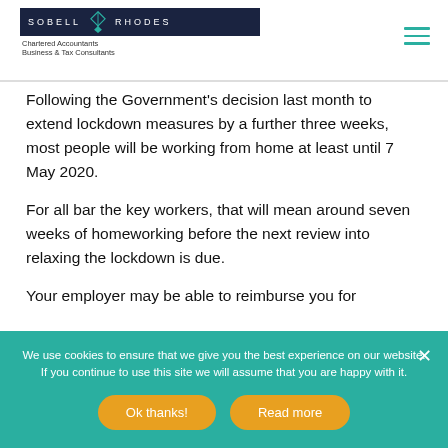[Figure (logo): Sobell Rhodes LLP logo — dark navy bar with company name, teal diamond/figure mark, and subtitle 'Chartered Accountants Business & Tax Consultants']
Following the Government's decision last month to extend lockdown measures by a further three weeks, most people will be working from home at least until 7 May 2020.
For all bar the key workers, that will mean around seven weeks of homeworking before the next review into relaxing the lockdown is due.
Your employer may be able to reimburse you for
We use cookies to ensure that we give you the best experience on our website. If you continue to use this site we will assume that you are happy with it.